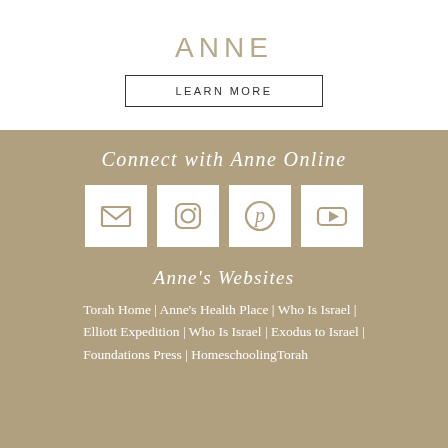ANNE
LEARN MORE
Connect with Anne Online
[Figure (infographic): Four social media icons in white boxes: email (envelope), Instagram, Pinterest, YouTube]
Anne's Websites
Torah Home | Anne's Health Place | Who Is Israel | Elliott Expedition | Who Is Israel | Exodus to Israel | Foundations Press | HomeschoolingTorah